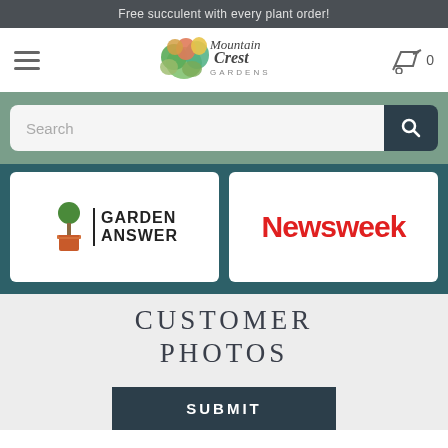Free succulent with every plant order!
[Figure (logo): Mountain Crest Gardens logo with colorful succulent illustration and stylized text]
[Figure (screenshot): Search bar with magnifying glass button on green background]
[Figure (logo): Garden Answer logo - small topiary tree with text GARDEN ANSWER]
[Figure (logo): Newsweek logo in bold red text]
CUSTOMER PHOTOS
[Figure (other): SUBMIT button in dark teal/navy color]